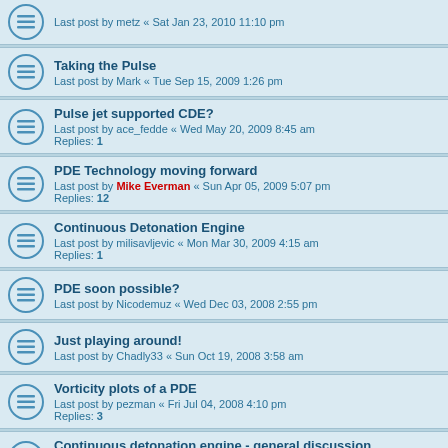Last post by metz « Sat Jan 23, 2010 11:10 pm
Taking the Pulse
Last post by Mark « Tue Sep 15, 2009 1:26 pm
Pulse jet supported CDE?
Last post by ace_fedde « Wed May 20, 2009 8:45 am
Replies: 1
PDE Technology moving forward
Last post by Mike Everman « Sun Apr 05, 2009 5:07 pm
Replies: 12
Continuous Detonation Engine
Last post by milisavljevic « Mon Mar 30, 2009 4:15 am
Replies: 1
PDE soon possible?
Last post by Nicodemuz « Wed Dec 03, 2008 2:55 pm
Just playing around!
Last post by Chadly33 « Sun Oct 19, 2008 3:58 am
Vorticity plots of a PDE
Last post by pezman « Fri Jul 04, 2008 4:10 pm
Replies: 3
Continuous detonation engine - general discussion
Last post by ssabot25 « Thu Jul 03, 2008 5:32 pm
Replies: 2
MAPP
Last post by Mark « Sat Dec 22, 2007 7:18 pm
Air & Space After dinner reading
Last post by Mark « Fri Sep 21, 2007 1:37 am